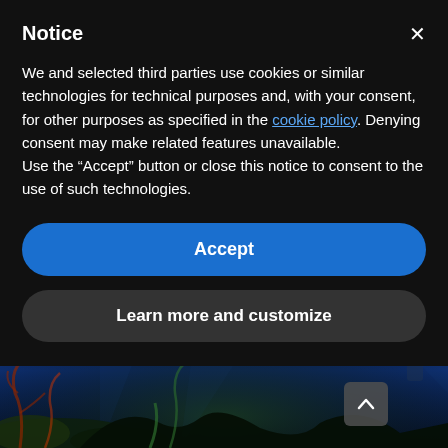Notice
We and selected third parties use cookies or similar technologies for technical purposes and, with your consent, for other purposes as specified in the cookie policy. Denying consent may make related features unavailable.
Use the "Accept" button or close this notice to consent to the use of such technologies.
Accept
Learn more and customize
[Figure (photo): Underwater scene with coral reef, fish, and blue water. Faint text reading 'THE ENVIRONMENT' visible at top. A scroll-up button in lower right area.]